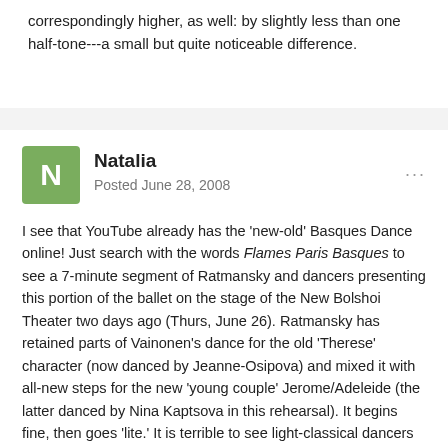correspondingly higher, as well: by slightly less than one half-tone---a small but quite noticeable difference.
Natalia
Posted June 28, 2008
I see that YouTube already has the 'new-old' Basques Dance online! Just search with the words Flames Paris Basques to see a 7-minute segment of Ratmansky and dancers presenting this portion of the ballet on the stage of the New Bolshoi Theater two days ago (Thurs, June 26). Ratmansky has retained parts of Vainonen's dance for the old 'Therese' character (now danced by Jeanne-Osipova) and mixed it with all-new steps for the new 'young couple' Jerome/Adeleide (the latter danced by Nina Kaptsova in this rehearsal). It begins fine, then goes 'lite.' It is terrible to see light-classical dancers mimicking folk-characters...especially tiny Osipova trying to stomp around as if she were Yuliana Malkhasiants. Weak tea, compared to true character dancing!!!
Osipova's slight presence, especially when dancing between her